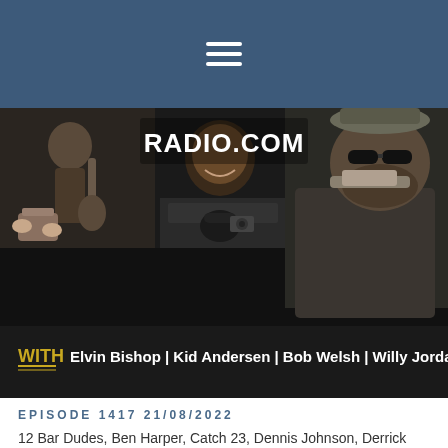≡
[Figure (photo): Photo collage showing blues musicians. Top left: a man with a stringed instrument. Top center: a smiling Black man in front of equipment. Center right: a bearded man playing harmonica. Bottom left: hands holding a jar. Bottom center: a person with a cap and camera. Overlay text: RADIO.COM. Bottom banner text: WITH Elvin Bishop | Kid Andersen | Bob Welsh | Willy Jordan | Alabama Mike]
EPISODE 1417 21/08/2022
12 Bar Dudes, Ben Harper, Catch 23, Dennis Johnson, Derrick Procell, John Nemeth, Los Skeletone Blues, Pat Dow, Patty Tuite,